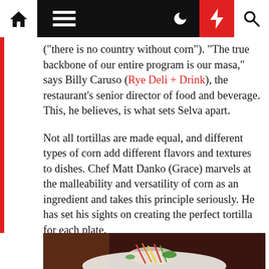[Navigation bar with home, menu, moon, bolt, search icons]
("there is no country without corn"). "The true backbone of our entire program is our masa," says Billy Caruso (Rye Deli + Drink), the restaurant's senior director of food and beverage. This, he believes, is what sets Selva apart.
Not all tortillas are made equal, and different types of corn add different flavors and textures to dishes. Chef Matt Danko (Grace) marvels at the malleability and versatility of corn as an ingredient and takes this principle seriously. He has set his sights on creating the perfect tortilla for each plate.
[Figure (photo): Bottom portion of a food photo showing a plated dish with colorful vegetables/garnishes on a white plate against a dark brown background]